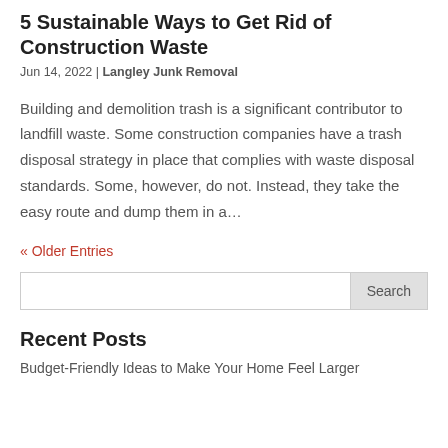5 Sustainable Ways to Get Rid of Construction Waste
Jun 14, 2022 | Langley Junk Removal
Building and demolition trash is a significant contributor to landfill waste. Some construction companies have a trash disposal strategy in place that complies with waste disposal standards. Some, however, do not. Instead, they take the easy route and dump them in a…
« Older Entries
Search
Recent Posts
Budget-Friendly Ideas to Make Your Home Feel Larger